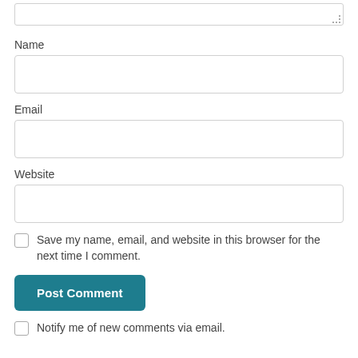[Figure (screenshot): Partial text area input stub at top of page]
Name
[Figure (screenshot): Empty Name input field]
Email
[Figure (screenshot): Empty Email input field]
Website
[Figure (screenshot): Empty Website input field]
Save my name, email, and website in this browser for the next time I comment.
[Figure (screenshot): Post Comment button in teal]
Notify me of new comments via email.